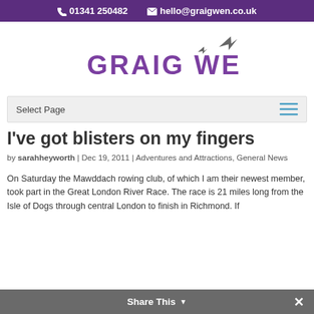📞 01341 250482   ✉ hello@graigwen.co.uk
[Figure (logo): Graig Wen logo with purple text and bird/plane silhouettes]
Select Page
I've got blisters on my fingers
by sarahheyworth | Dec 19, 2011 | Adventures and Attractions, General News
On Saturday the Mawddach rowing club, of which I am their newest member, took part in the Great London River Race. The race is 21 miles long from the Isle of Dogs through central London to finish in Richmond. If
Share This